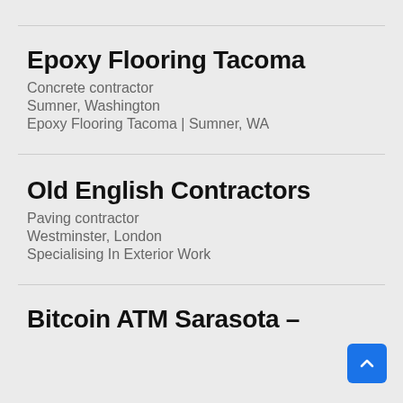Epoxy Flooring Tacoma
Concrete contractor
Sumner, Washington
Epoxy Flooring Tacoma | Sumner, WA
Old English Contractors
Paving contractor
Westminster, London
Specialising In Exterior Work
Bitcoin ATM Sarasota –